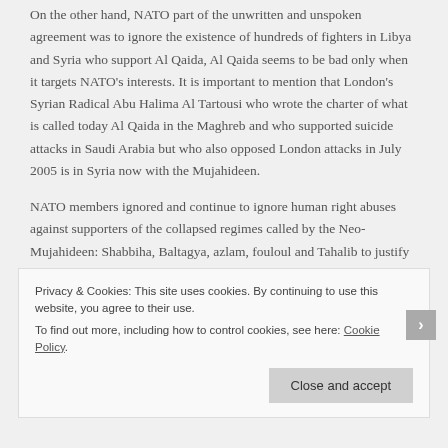On the other hand, NATO part of the unwritten and unspoken agreement was to ignore the existence of hundreds of fighters in Libya and Syria who support Al Qaida, Al Qaida seems to be bad only when it targets NATO's interests. It is important to mention that London's Syrian Radical Abu Halima Al Tartousi who wrote the charter of what is called today Al Qaida in the Maghreb and who supported suicide attacks in Saudi Arabia but who also opposed London attacks in July 2005 is in Syria now with the Mujahideen.
NATO members ignored and continue to ignore human right abuses against supporters of the collapsed regimes called by the Neo-Mujahideen: Shabbiha, Baltagya, azlam, fouloul and Tahalib to justify their slaughter; recent massacres of Bani Walid in Libya are a good example. In parallel with the work which Al Jazeera and Al Arabiya
Privacy & Cookies: This site uses cookies. By continuing to use this website, you agree to their use.
To find out more, including how to control cookies, see here: Cookie Policy